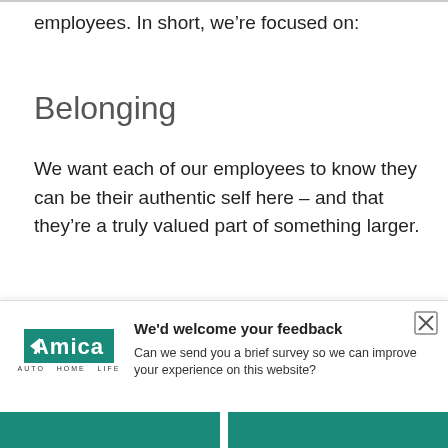employees. In short, we're focused on:
Belonging
We want each of our employees to know they can be their authentic self here – and that they're a truly valued part of something larger.
Diversity
We strive to... become a more accurate reflection of our society and the communities we live in.
[Figure (logo): Amica Auto Home Life logo — teal background with white text and arrow]
We'd welcome your feedback
Can we send you a brief survey so we can improve your experience on this website?